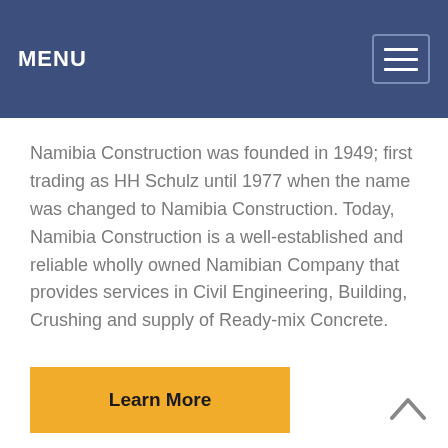MENU
Namibia Construction was founded in 1949; first trading as HH Schulz until 1977 when the name was changed to Namibia Construction. Today, Namibia Construction is a well-established and reliable wholly owned Namibian Company that provides services in Civil Engineering, Building, Crushing and supply of Ready-mix Concrete.
[Figure (other): Yellow 'Learn More' button]
[Figure (other): Back to top caret/arrow icon at bottom right]